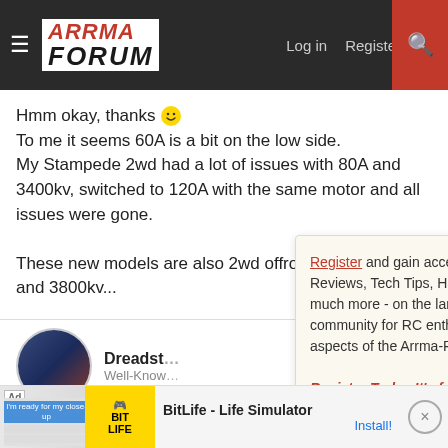[Figure (screenshot): Arrma Forum website header with logo, navigation links (Log in, Register, lightning bolt icon), and red search button]
Hmm okay, thanks 🙂
To me it seems 60A is a bit on the low side.
My Stampede 2wd had a lot of issues with 80A and 3400kv, switched to 120A with the same motor and all issues were gone.

These new models are also 2wd offroad, but then 60A and 3800kv...
[Figure (photo): Forum user avatar showing RC car photo]
Dreadst...
Well-Know...
Oct 4, 2016
Register and gain access to Discussions, Reviews, Tech Tips, How to Articles, and much more - on the largest Arrma RC community for RC enthusiasts that covers all aspects of the Arrma-RC brand!

Register Today It's free! This box will disappear once registered!
It shoul...
nulls a...
[Figure (screenshot): BitLife - Life Simulator advertisement banner at bottom of page]